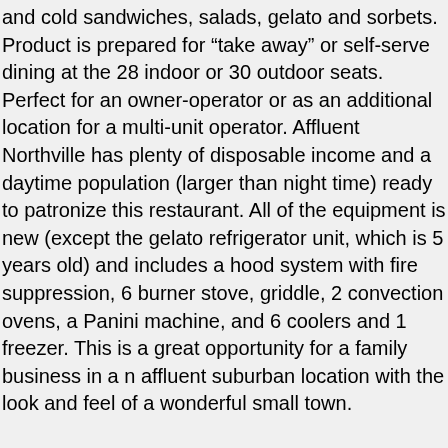and cold sandwiches, salads, gelato and sorbets. Product is prepared for “take away” or self-serve dining at the 28 indoor or 30 outdoor seats. Perfect for an owner-operator or as an additional location for a multi-unit operator. Affluent Northville has plenty of disposable income and a daytime population (larger than night time) ready to patronize this restaurant. All of the equipment is new (except the gelato refrigerator unit, which is 5 years old) and includes a hood system with fire suppression, 6 burner stove, griddle, 2 convection ovens, a Panini machine, and 6 coolers and 1 freezer. This is a great opportunity for a family business in a n affluent suburban location with the look and feel of a wonderful small town.